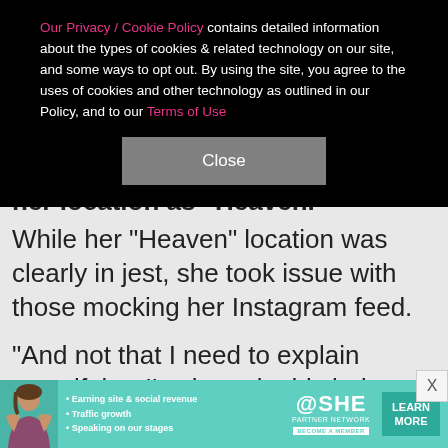Our Privacy / Cookie Policy contains detailed information about the types of cookies & related technology on our site, and some ways to opt out. By using the site, you agree to the uses of cookies and other technology as outlined in our Policy, and to our Terms of Use
Close
her location as "Heaven."
While her "Heaven" location was clearly in jest, she took issue with those mocking her Instagram feed.
"And not that I need to explain myself, but I've been in this industry for over 20 years and have been traveling the world since I was 7. If I want my Instagram to be curated like a museum of ART then that's what the f*** is going to happen," she said in part of her fairly profa
[Figure (advertisement): SHE Partner Network advertisement banner with woman photo, bullet points: Earning site & social revenue, Traffic growth, Speaking on our stages, and LEARN MORE button]